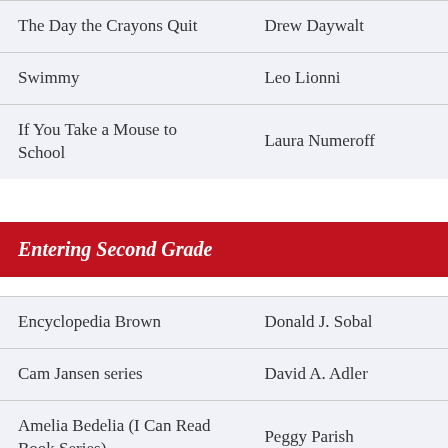| Title | Author |
| --- | --- |
| The Day the Crayons Quit | Drew Daywalt |
| Swimmy | Leo Lionni |
| If You Take a Mouse to School | Laura Numeroff |
Entering Second Grade
| Title | Author |
| --- | --- |
| Encyclopedia Brown | Donald J. Sobal |
| Cam Jansen series | David A. Adler |
| Amelia Bedelia (I Can Read Book Series) | Peggy Parish |
| Flat Stanley | Jeff Brown |